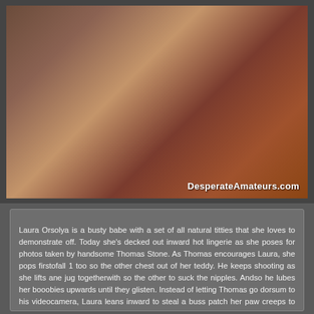[Figure (photo): Two people in an intimate pose on a red surface, adult content photo with DesperateAmateurs.com watermark]
Laura Orsolya is a busty babe with a set of all natural titties that she loves to demonstrate off. Today she's decked out inward hot lingerie as she poses for photos taken by handsome Thomas Stone. As Thomas encourages Laura, she pops firstofall 1 too so the other chest out of her teddy. He keeps shooting as she lifts ane jug togetherwith so the other to suck the nipples. Andso he lubes her booobies upwards until they glisten. Instead of letting Thomas go dorsum to his videocamera, Laura leans inward to steal a buss patch her paw creeps to his waist to experience Thomas's hardon. She unzips his jeans to permit his stiffie outflow loose, so sinks to her knees so she tin indulge her every sexual want. Taking Thomas's hardon inward manus, Laura leans forwards to start sucking slow aswellas steady. Bringing her knocker upward, she uses the newly-lubed surface to give a titty fuck where she sucks the tip of Thomas's cock on each stroke. By the time Laura bends over on the couch, her twat is dripping with excitement to havegot Thomas buried within. The doggy style place lets her all naturals swing freely beneath her. Each time Thomas thrusts forwards, she moans with the pleasance of beingness fucked from behind.